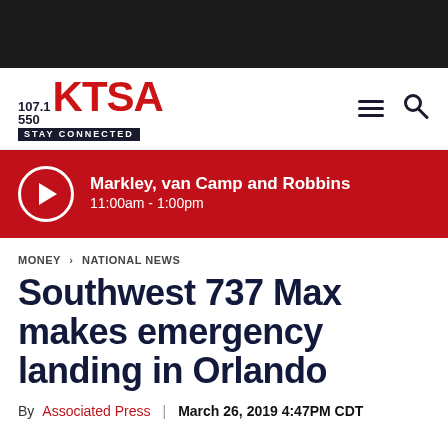[Figure (logo): Black top navigation bar]
107.1 550 KTSA STAY CONNECTED
[Figure (infographic): Red banner with play button circle icon showing 'Markley, van Camp and Robbins' show, 11:00am - 1:00pm]
MONEY > NATIONAL NEWS
Southwest 737 Max makes emergency landing in Orlando
By Associated Press | March 26, 2019 4:47PM CDT